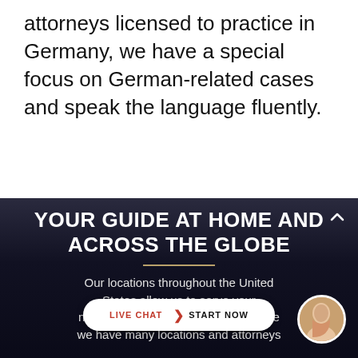attorneys licensed to practice in Germany, we have a special focus on German-related cases and speak the language fluently.
YOUR GUIDE AT HOME AND ACROSS THE GLOBE
Our locations throughout the United States allow us to serve your needs efficiently and effectively. Since we have many locations and attorneys